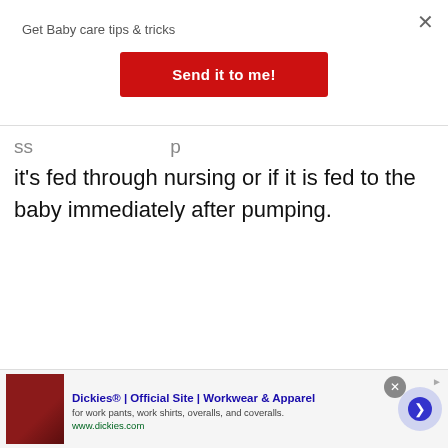Get Baby care tips & tricks
Send it to me!
...ss ...p it's fed through nursing or if it is fed to the baby immediately after pumping.
[Figure (screenshot): Advertisement banner for Dickies workwear showing a leather couch image, ad title 'Dickies® | Official Site | Workwear & Apparel', subtitle 'for work pants, work shirts, overalls, and coveralls.', url 'www.dickies.com', with a circular arrow navigation button]